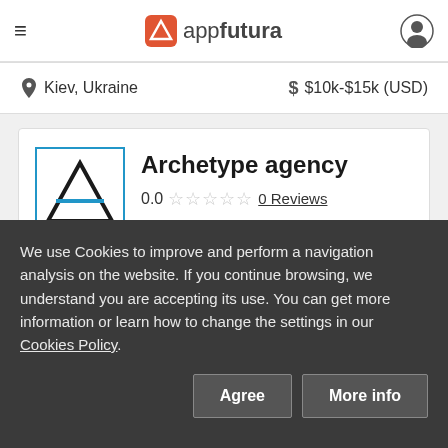appfutura
Kiev, Ukraine   $  $10k-$15k (USD)
Archetype agency
0.0  0 Reviews
Contact
We use Cookies to improve and perform a navigation analysis on the website. If you continue browsing, we understand you are accepting its use. You can get more information or learn how to change the settings in our Cookies Policy.
Agree
More info